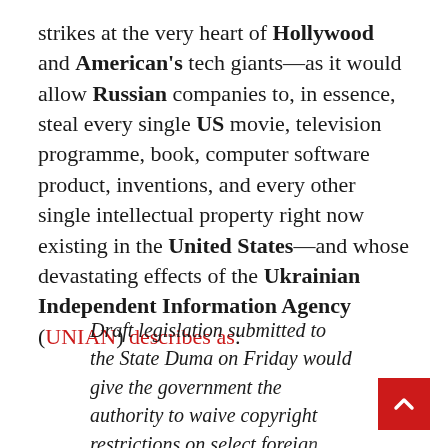strikes at the very heart of Hollywood and American's tech giants—as it would allow Russian companies to, in essence, steal every single US movie, television programme, book, computer software product, inventions, and every other single intellectual property right now existing in the United States—and whose devastating effects of the Ukrainian Independent Information Agency (UNIAN) describes as:
Draft legislation submitted to the State Duma on Friday would give the government the authority to waive copyright restrictions on select foreign products, "allowing" Russian enterprises